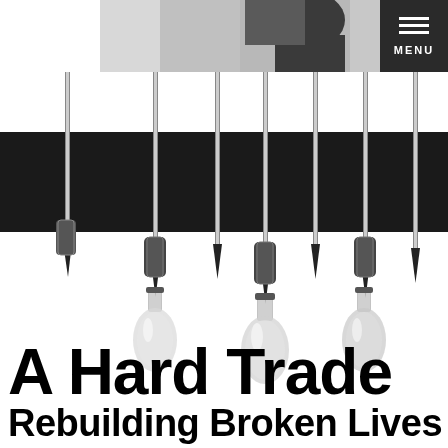[Figure (photo): Grayscale photo of a person at top left, partially cropped, with a dark menu button in the top right corner showing three horizontal lines and the word MENU]
[Figure (photo): Artistic black and white photograph showing multiple screwdrivers pointing downward with their tips emerging from a black rectangular band across the middle, and three glass bottles (like small laboratory or condiment bottles) at the bottom of the screwdrivers. The image is a creative composition suggesting tools and constraint.]
A Hard Trade Rebuilding Broken Lives